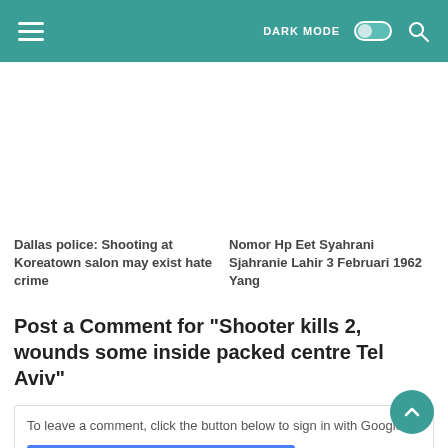DARK MODE [toggle] [search]
Dallas police: Shooting at Koreatown salon may exist hate crime
Nomor Hp Eet Syahrani Sjahranie Lahir 3 Februari 1962 Yang
Post a Comment for "Shooter kills 2, wounds some inside packed centre Tel Aviv"
To leave a comment, click the button below to sign in with Google.
SIGN IN WITH GOOGLE